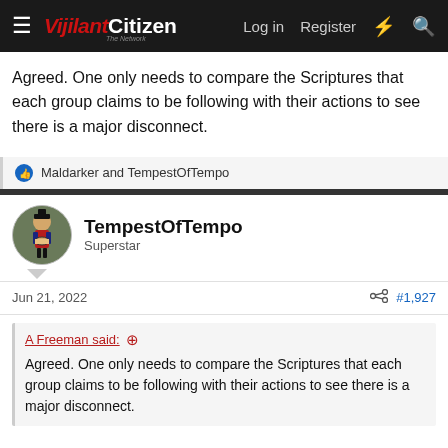VijilantCitizen — Log in  Register
Agreed. One only needs to compare the Scriptures that each group claims to be following with their actions to see there is a major disconnect.
Maldarker and TempestOfTempo
TempestOfTempo
Superstar
Jun 21, 2022   #1,927
A Freeman said: ↑
Agreed. One only needs to compare the Scriptures that each group claims to be following with their actions to see there is a major disconnect.